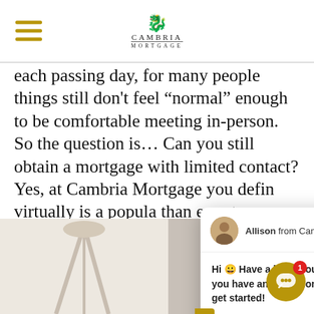Cambria Mortgage
each passing day, for many people things still don't feel “normal” enough to be comfortable meeting in-person. So the question is… Can you still obtain a mortgage with limited contact? Yes, at Cambria Mortgage you defin virtually is a popula than ever to provide are three tips t el
[Figure (screenshot): Live chat popup from Allison at Cambria Mortgage saying: Hi 😀 Have a look around! We are here live if you have any questions. Just type below to get started! With a Reply to Allison... input field.]
[Figure (photo): Bottom strip showing two people, with a lamp/tripod on the left side and a man and woman on the right side.]